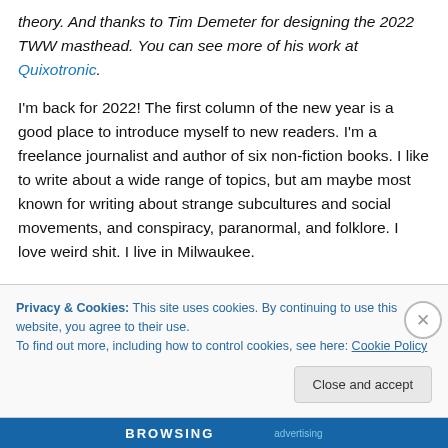theory. And thanks to Tim Demeter for designing the 2022 TWW masthead. You can see more of his work at Quixotronic.
I'm back for 2022! The first column of the new year is a good place to introduce myself to new readers. I'm a freelance journalist and author of six non-fiction books. I like to write about a wide range of topics, but am maybe most known for writing about strange subcultures and social movements, and conspiracy, paranormal, and folklore. I love weird shit. I live in Milwaukee.
Privacy & Cookies: This site uses cookies. By continuing to use this website, you agree to their use.
To find out more, including how to control cookies, see here: Cookie Policy